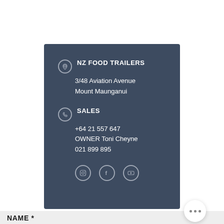NZ FOOD TRAILERS
3/48 Aviation Avenue
Mount Maunganui
SALES
+64 21 557 647
OWNER Toni Cheyne
021 899 895
[Figure (illustration): Social media icons: Instagram, Facebook, YouTube]
NAME *
[Figure (other): Three-dot menu button (ellipsis) circle]